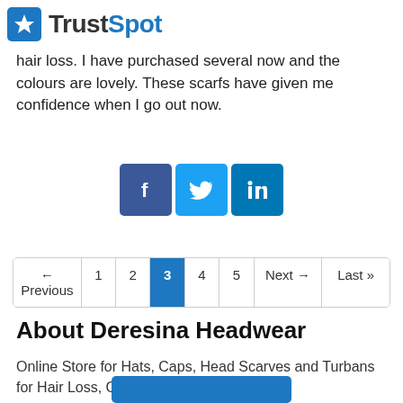TrustSpot
hair loss. I have purchased several now and the colours are lovely. These scarfs have given me confidence when I go out now.
[Figure (logo): Social media share icons: Facebook, Twitter, LinkedIn]
← Previous  1  2  3  4  5  Next →  Last »
About Deresina Headwear
Online Store for Hats, Caps, Head Scarves and Turbans for Hair Loss, Cancer, Chemo